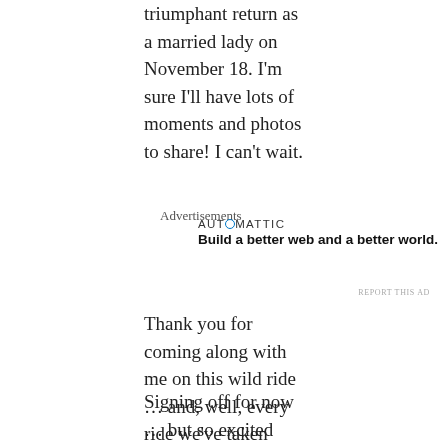triumphant return as a married lady on November 18. I'm sure I'll have lots of moments and photos to share! I can't wait.
Advertisements
[Figure (other): Automattic advertisement: AUT⊙MATTIC — Build a better web and a better world.]
REPORT THIS AD
Thank you for coming along with me on this wild ride … and, well, every ride we've taken together in the last five years. It's been so fun sharing wedding updates with y'all, and I'm sure I'll have many stories from the other side!
Signing off for now … but so excited about all that's to come.